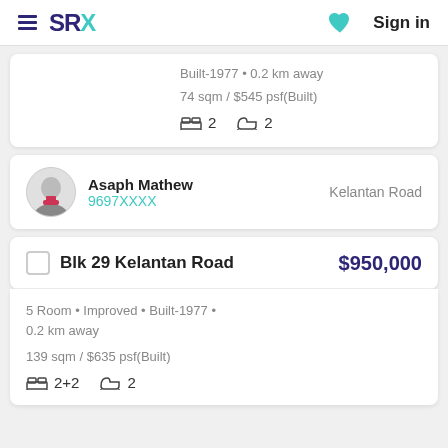SRX | Sign in
Built-1977 • 0.2 km away
74 sqm / $545 psf(Built)
🛏 2  🛁 2
Asaph Mathew
9697XXXX
Kelantan Road
Blk 29 Kelantan Road  $950,000
5 Room • Improved • Built-1977 • 0.2 km away
139 sqm / $635 psf(Built)
🛏 2+2  🛁 2